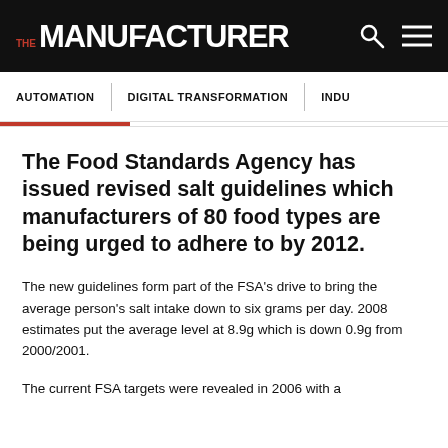THE MANUFACTURER
AUTOMATION | DIGITAL TRANSFORMATION | INDU…
The Food Standards Agency has issued revised salt guidelines which manufacturers of 80 food types are being urged to adhere to by 2012.
The new guidelines form part of the FSA's drive to bring the average person's salt intake down to six grams per day. 2008 estimates put the average level at 8.9g which is down 0.9g from 2000/2001.
The current FSA targets were revealed in 2006 with a…